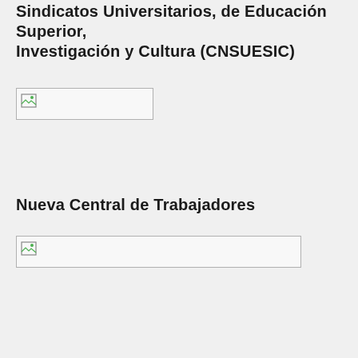Sindicatos Universitarios, de Educación Superior, Investigación y Cultura (CNSUESIC)
[Figure (other): Broken image placeholder with small icon, bordered box]
Nueva Central de Trabajadores
[Figure (other): Broken image placeholder with small icon, wider bordered box]